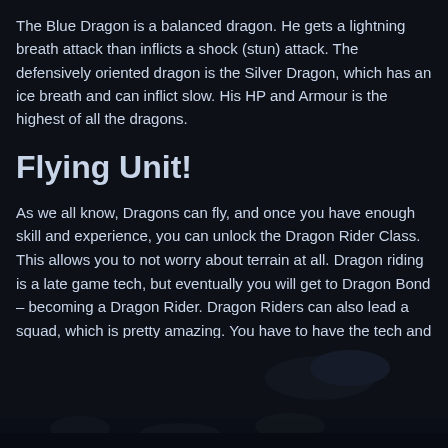The Blue Dragon is a balanced dragon. He gets a lightning breath attack than inflicts a shock (stun) attack. The defensively oriented dragon is the Silver Dragon, which has an ice breath and can inflict slow. His HP and Armour is the highest of all the dragons.
Flying Unit!
As we all know, Dragons can fly, and once you have enough skill and experience, you can unlock the Dragon Rider Class. This allows you to not worry about terrain at all. Dragon riding is a late game tech, but eventually you will get to Dragon Bond – becoming a Dragon Rider. Dragon Riders can also lead a squad, which is pretty amazing. You have to have the tech and the fancy equipment to make it happen, but it is totally worth it.
[Figure (photo): Dark background image at the bottom of the page, partially visible, showing a dark scene with faint shapes]